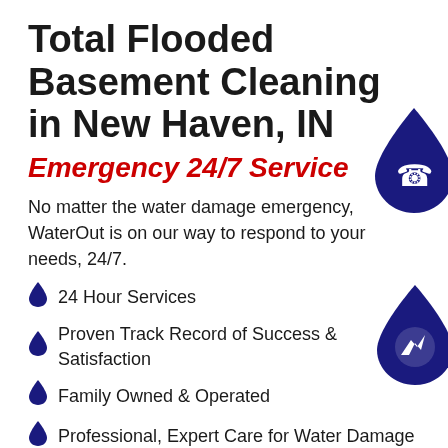Total Flooded Basement Cleaning in New Haven, IN
Emergency 24/7 Service
No matter the water damage emergency, WaterOut is on our way to respond to your needs, 24/7.
24 Hour Services
Proven Track Record of Success & Satisfaction
Family Owned & Operated
Professional, Expert Care for Water Damage
We Work With Insurance Companies